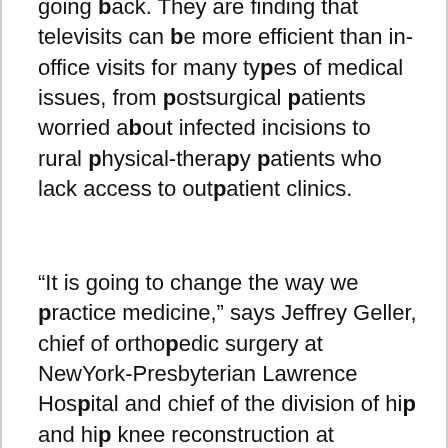going back. They are finding that televisits can be more efficient than in-office visits for many types of medical issues, from postsurgical patients worried about infected incisions to rural physical-therapy patients who lack access to outpatient clinics.
“It is going to change the way we practice medicine,” says Jeffrey Geller, chief of orthopedic surgery at NewYork-Presbyterian Lawrence Hospital and chief of the division of hip and hip knee reconstruction at